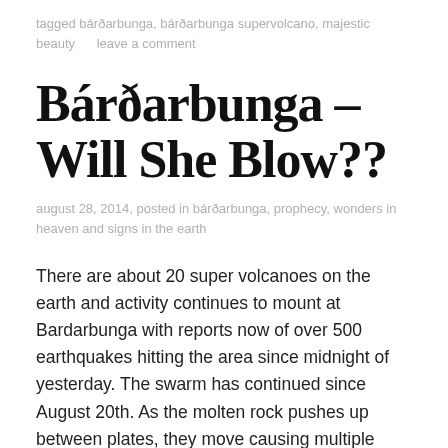tagged bárðarbunga, bárðarbunga supervolcano, majestic beauty     leave a comment
Bárðarbunga – Will She Blow??
august 28, 2014, posted in bárðarbunga, prophecy, wonders in heaven and signs in the earth
There are about 20 super volcanoes on the earth and activity continues to mount at Bardarbunga with reports now of over 500 earthquakes hitting the area since midnight of yesterday. The swarm has continued since August 20th. As the molten rock pushes up between plates, they move causing multiple earthquakes and allowing the molten rock to move